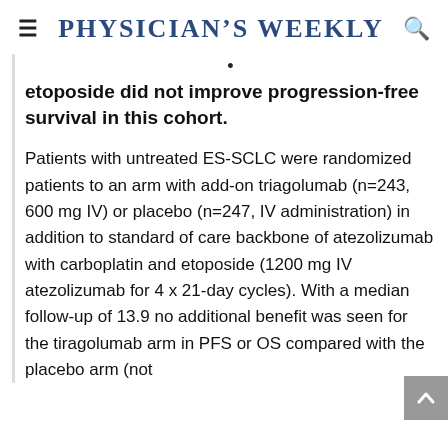PHYSICIAN'S WEEKLY
etoposide did not improve progression-free survival in this cohort.
Patients with untreated ES-SCLC were randomized patients to an arm with add-on triagolumab (n=243, 600 mg IV) or placebo (n=247, IV administration) in addition to standard of care backbone of atezolizumab with carboplatin and etoposide (1200 mg IV atezolizumab for 4 x 21-day cycles). With a median follow-up of 13.9 no additional benefit was seen for the tiragolumab arm in PFS or OS compared with the placebo arm (not